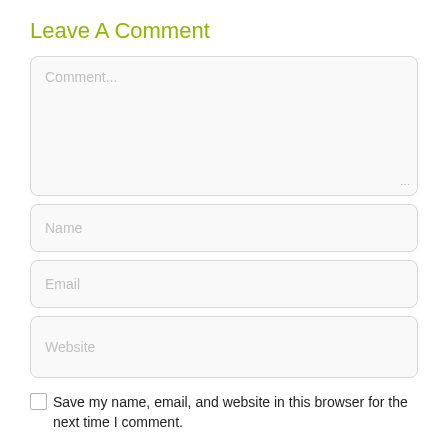Leave A Comment
[Figure (screenshot): Comment text area input field with placeholder text 'Comment...' and resize handle at bottom right]
[Figure (screenshot): Name input field with placeholder text 'Name']
[Figure (screenshot): Email input field with placeholder text 'Email']
[Figure (screenshot): Website input field with placeholder text 'Website']
Save my name, email, and website in this browser for the next time I comment.